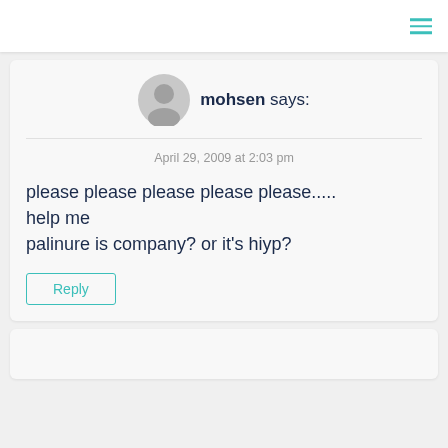[Figure (screenshot): User avatar placeholder icon (gray silhouette)]
mohsen says:
April 29, 2009 at 2:03 pm
please please please please please..... help me
palinure is company? or it's hiyp?
Reply